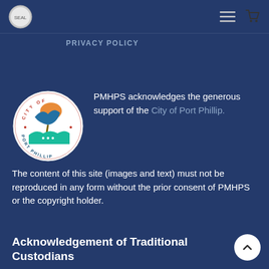[Figure (logo): Small circular government seal logo in top left navigation bar]
PRIVACY POLICY
[Figure (logo): City of Port Phillip circular logo with palm tree, wave, and bird imagery in orange, blue, teal, and white colors]
PMHPS acknowledges the generous support of the City of Port Phillip. The content of this site (images and text) must not be reproduced in any form without the prior consent of PMHPS or the copyright holder.
Acknowledgement of Traditional Custodians